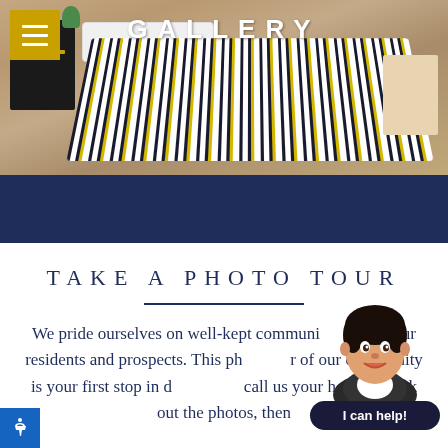[Figure (photo): Bedroom photo with a bed featuring a blue and white patterned comforter with yellow accents, dark nightstand on the left, and room decor visible in background]
GALLERY
[Figure (illustration): Dark navy blue decorative banner/divider bar]
TAKE A PHOTO TOUR
We pride ourselves on well-kept communities for all our residents and prospects. This photo tour of our community is your first stop in deciding to call us your home. Check out the photos, then
[Figure (illustration): Chatbot avatar of a woman with short dark hair, smiling, with a speech bubble saying 'I can help!']